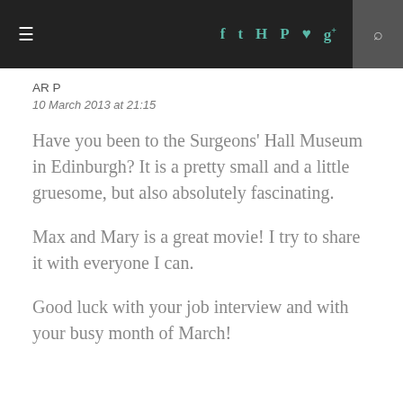≡  f  t  ☎  ℗  ♥  g+  🔍
AR P
10 March 2013 at 21:15
Have you been to the Surgeons' Hall Museum in Edinburgh? It is a pretty small and a little gruesome, but also absolutely fascinating.
Max and Mary is a great movie! I try to share it with everyone I can.
Good luck with your job interview and with your busy month of March!